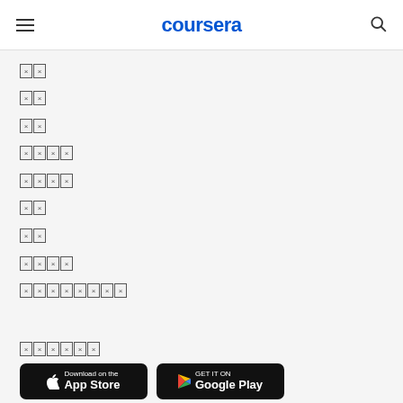coursera
🀆🀆
🀆🀆
🀆🀆
🀆🀆🀆🀆
🀆🀆🀆🀆
🀆🀆
🀆🀆
🀆🀆🀆🀆
🀆🀆🀆🀆🀆🀆🀆🀆
🀆🀆🀆🀆🀆🀆
[Figure (other): App Store and Google Play download buttons]